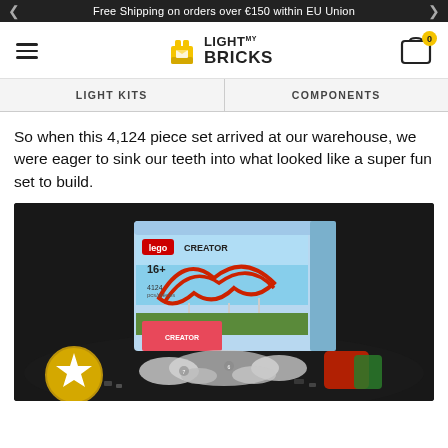Free Shipping on orders over €150 within EU Union
[Figure (logo): Light My Bricks logo with brick icon and text]
LIGHT KITS   COMPONENTS
So when this 4,124 piece set arrived at our warehouse, we were eager to sink our teeth into what looked like a super fun set to build.
[Figure (photo): LEGO Creator Roller Coaster set box (16+, 4124 pieces) on a dark surface surrounded by multiple numbered bags of LEGO pieces. A gold star emblem is visible at the lower left.]